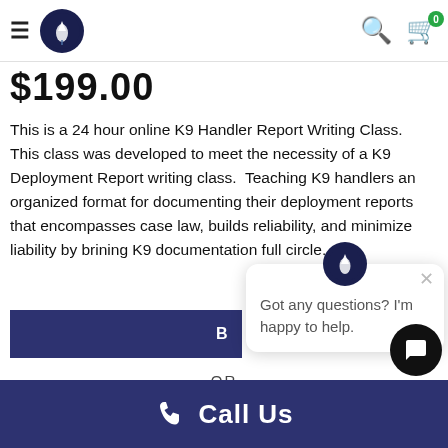Navigation bar with hamburger menu, logo, search icon, and cart (0 items)
$199.00
This is a 24 hour online K9 Handler Report Writing Class.  This class was developed to meet the necessity of a K9 Deployment Report writing class.  Teaching K9 handlers an organized format for documenting their deployment reports that encompasses case law, builds reliability, and minimize liability by brining K9 documentation full circle.
B
Got any questions? I'm happy to help.
— OR —
Call Us